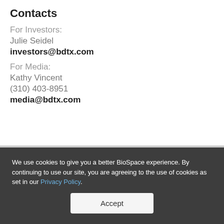Contacts
For Investors:
Julie Seidel
investors@bdtx.com
For Media:
Kathy Vincent
(310) 403-8951
media@bdtx.com
We use cookies to give you a better BioSpace experience. By continuing to use our site, you are agreeing to the use of cookies as set in our Privacy Policy.
Accept